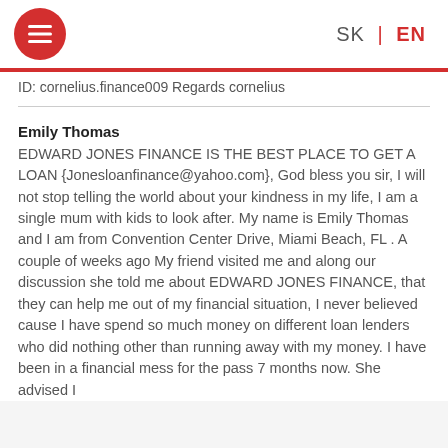SK | EN
ID: cornelius.finance009 Regards cornelius
Emily Thomas
EDWARD JONES FINANCE IS THE BEST PLACE TO GET A LOAN {Jonesloanfinance@yahoo.com}, God bless you sir, I will not stop telling the world about your kindness in my life, I am a single mum with kids to look after. My name is Emily Thomas and I am from Convention Center Drive, Miami Beach, FL . A couple of weeks ago My friend visited me and along our discussion she told me about EDWARD JONES FINANCE, that they can help me out of my financial situation, I never believed cause I have spend so much money on different loan lenders who did nothing other than running away with my money. I have been in a financial mess for the pass 7 months now. She advised I